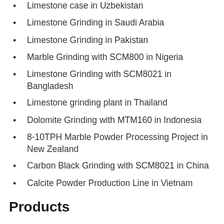Limestone case in Uzbekistan
Limestone Grinding in Saudi Arabia
Limestone Grinding in Pakistan
Marble Grinding with SCM800 in Nigeria
Limestone Grinding with SCM8021 in Bangladesh
Limestone grinding plant in Thailand
Dolomite Grinding with MTM160 in Indonesia
8-10TPH Marble Powder Processing Project in New Zealand
Carbon Black Grinding with SCM8021 in China
Calcite Powder Production Line in Vietnam
Products
MB5X Grinding Mill